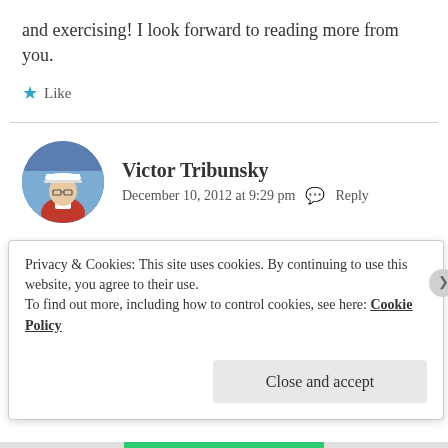and exercising! I look forward to reading more from you.
★ Like
Victor Tribunsky
December 10, 2012 at 9:29 pm   Reply
Thank you. Good luck to you too!
★ Like
Privacy & Cookies: This site uses cookies. By continuing to use this website, you agree to their use.
To find out more, including how to control cookies, see here: Cookie Policy
Close and accept